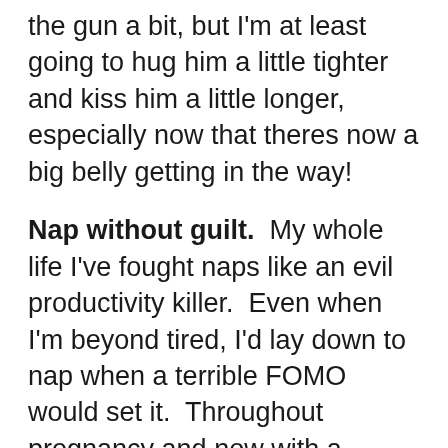the gun a bit, but I'm at least going to hug him a little tighter and kiss him a little longer, especially now that theres now a big belly getting in the way!
Nap without guilt. My whole life I've fought naps like an evil productivity killer. Even when I'm beyond tired, I'd lay down to nap when a terrible FOMO would set it. Throughout pregnancy and now with a demanding pumping schedule (I know it sounds silly, but for real..), I'm finally realizing the value of a nap can make the difference between an enjoyable, productive evening and dinnertime meltdown where I'm basically crying myself to sleep because I cannot go on any longer. Don't ask me how I'm going to